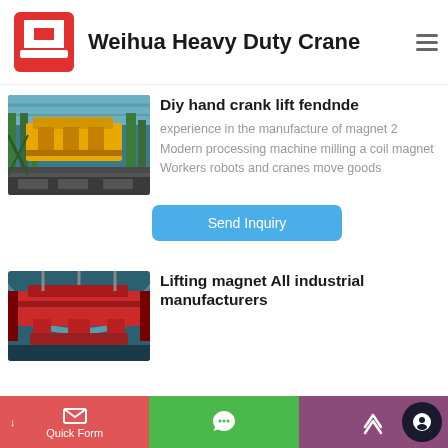Weihua Heavy Duty Crane
Diy hand crank lift fendnde
experience in the manufacture of magnet 2 Modern processing machine milling a coil magnet Workers robots and cranes move goods
[Figure (photo): Industrial yellow overhead crane in a factory with green steel structure]
Send Inquiry
Lifting magnet All industrial manufacturers
[Figure (photo): Red lifting magnet crane from below in an industrial facility]